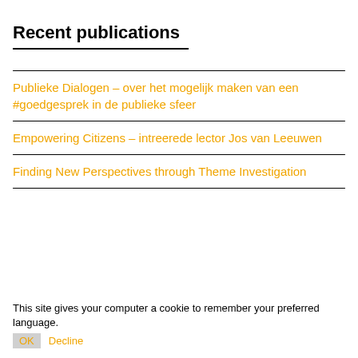Recent publications
Publieke Dialogen – over het mogelijk maken van een #goedgesprek in de publieke sfeer
Empowering Citizens – intreerede lector Jos van Leeuwen
Finding New Perspectives through Theme Investigation
This site gives your computer a cookie to remember your preferred language.
OK  Decline